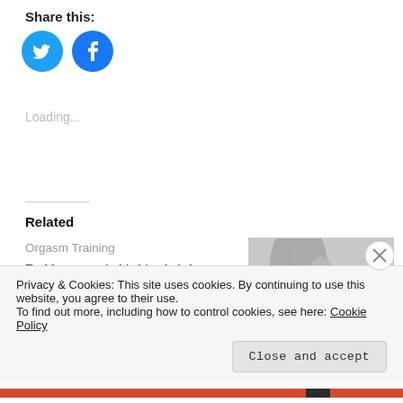Share this:
[Figure (illustration): Two social share buttons: Twitter (blue bird icon circle) and Facebook (blue f icon circle)]
Loading...
Related
Orgasm Training
Daddy put me in his big chair legs spread wide. He took the Hitachi out.  That damned torture device that he bought
[Figure (photo): Black and white photo showing legs with a tattoo]
Privacy & Cookies: This site uses cookies. By continuing to use this website, you agree to their use.
To find out more, including how to control cookies, see here: Cookie Policy
Close and accept